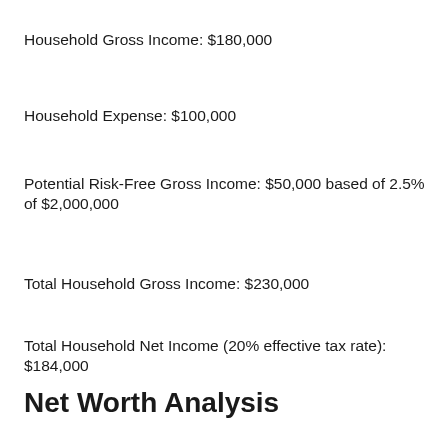Household Gross Income: $180,000
Household Expense: $100,000
Potential Risk-Free Gross Income: $50,000 based of 2.5% of $2,000,000
Total Household Gross Income: $230,000
Total Household Net Income (20% effective tax rate): $184,000
Net Worth Analysis
Thanks to aggressive saving, pay raises, rental